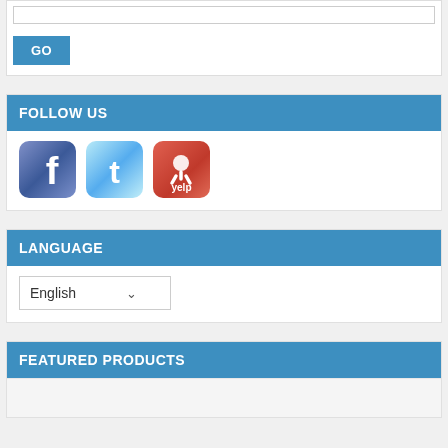[Figure (screenshot): Search input bar with GO button]
FOLLOW US
[Figure (infographic): Social media icons: Facebook, Twitter, Yelp]
LANGUAGE
English
FEATURED PRODUCTS